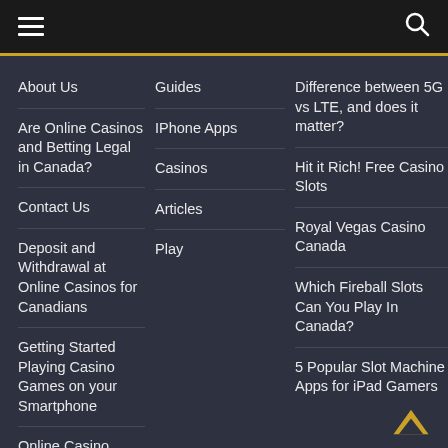Navigation menu with hamburger icon and search icon
About Us
Are Online Casinos and Betting Legal in Canada?
Contact Us
Deposit and Withdrawal at Online Casinos for Canadians
Getting Started Playing Casino Games on your Smartphone
Online Casino Welcome Bonuses
Guides
IPhone Apps
Casinos
Articles
Play
Difference between 5G vs LTE, and does it matter?
Hit it Rich! Free Casino Slots
Royal Vegas Casino Canada
Which Fireball Slots Can You Play In Canada?
5 Popular Slot Machine Apps for iPad Gamers